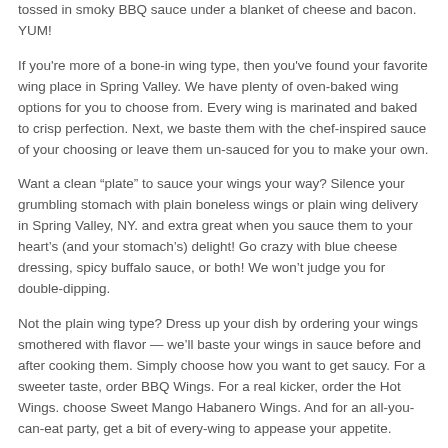tossed in smoky BBQ sauce under a blanket of cheese and bacon. YUM!
If you're more of a bone-in wing type, then you've found your favorite wing place in Spring Valley. We have plenty of oven-baked wing options for you to choose from. Every wing is marinated and baked to crisp perfection. Next, we baste them with the chef-inspired sauce of your choosing or leave them un-sauced for you to make your own.
Want a clean “plate” to sauce your wings your way? Silence your grumbling stomach with plain boneless wings or plain wing delivery in Spring Valley, NY. and extra great when you sauce them to your heart’s (and your stomach’s) delight! Go crazy with blue cheese dressing, spicy buffalo sauce, or both! We won’t judge you for double-dipping.
Not the plain wing type? Dress up your dish by ordering your wings smothered with flavor — we’ll baste your wings in sauce before and after cooking them. Simply choose how you want to get saucy. For a sweeter taste, order BBQ Wings. For a real kicker, order the Hot Wings. choose Sweet Mango Habanero Wings. And for an all-you-can-eat party, get a bit of every-wing to appease your appetite.